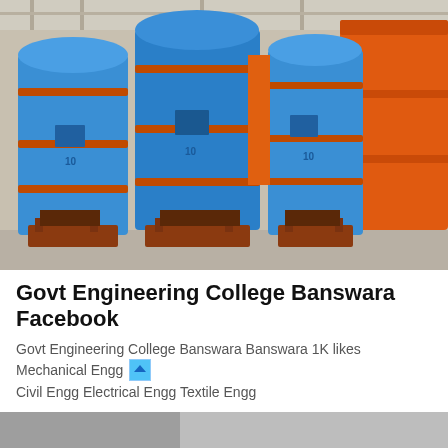[Figure (photo): Industrial photo showing large blue and orange cylindrical equipment (mills or separators) with rust-colored metal bases, inside a factory or industrial facility.]
Govt Engineering College Banswara Facebook
Govt Engineering College Banswara Banswara 1K likes Mechanical Engg Civil Engg Electrical Engg Textile Engg